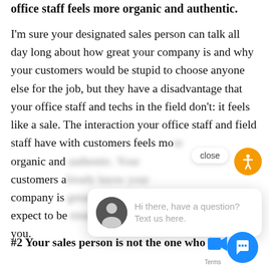office staff feels more organic and authentic.
I'm sure your designated sales person can talk all day long about how great your company is and why your customers would be stupid to choose anyone else for the job, but they have a disadvantage that your office staff and techs in the field don't: it feels like a sale. The interaction your office staff and field staff have with customers feels more organic and [blurred] customers [blurred] company is [blurred] expect to be treated when they work with you.
#2 Your sales person is not the one who w[ill] leave a lasting impression. Most of the
[Figure (other): Chat popup widget with a man's avatar photo and text 'Hi there, have a question? Text us here.' with a close button, accessibility icon (orange circle with person), blue chat bubble button, and video icon.]